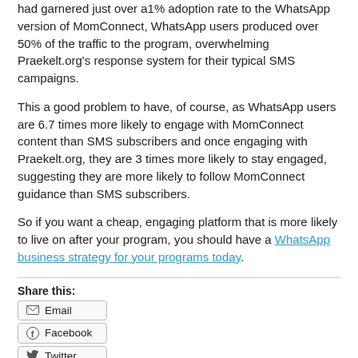had garnered just over a1% adoption rate to the WhatsApp version of MomConnect, WhatsApp users produced over 50% of the traffic to the program, overwhelming Praekelt.org's response system for their typical SMS campaigns.
This a good problem to have, of course, as WhatsApp users are 6.7 times more likely to engage with MomConnect content than SMS subscribers and once engaging with Praekelt.org, they are 3 times more likely to stay engaged, suggesting they are more likely to follow MomConnect guidance than SMS subscribers.
So if you want a cheap, engaging platform that is more likely to live on after your program, you should have a WhatsApp business strategy for your programs today.
Share this:
Email
Facebook
Twitter
WhatsApp
LinkedIn
Tags: Communications for Development, Mobile Network